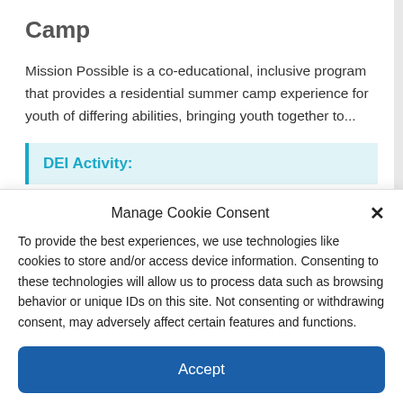Camp
Mission Possible is a co-educational, inclusive program that provides a residential summer camp experience for youth of differing abilities, bringing youth together to...
DEI Activity:
Manage Cookie Consent
To provide the best experiences, we use technologies like cookies to store and/or access device information. Consenting to these technologies will allow us to process data such as browsing behavior or unique IDs on this site. Not consenting or withdrawing consent, may adversely affect certain features and functions.
Accept
Cookie Policy  Privacy Statement